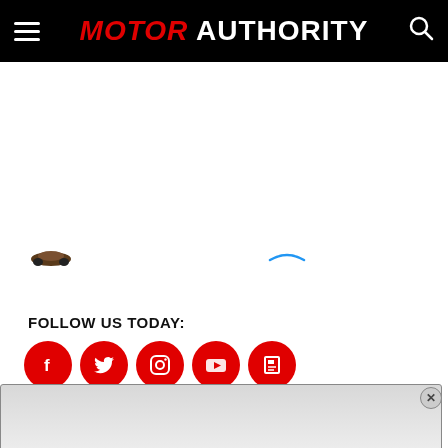MOTOR AUTHORITY
[Figure (screenshot): Partial car image thumbnails visible in content area - small brown/dark car thumbnail on left and small blue element on right]
FOLLOW US TODAY:
[Figure (infographic): Five red circular social media icons: Facebook, Twitter, Instagram, YouTube, Flipboard]
[Figure (screenshot): Gray advertisement overlay panel with close (x) button in top right corner]